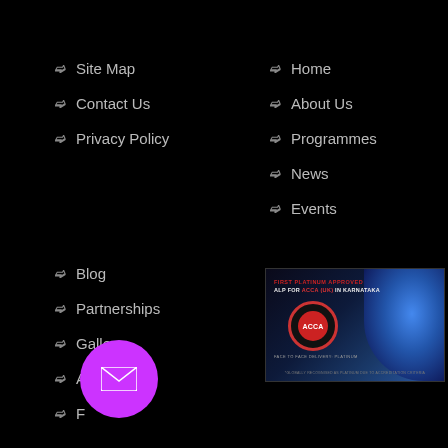Site Map
Contact Us
Privacy Policy
Home
About Us
Programmes
News
Events
Blog
Partnerships
Gallery
Alumni
F...
[Figure (logo): ACCA Approved Learning Partner badge - First Platinum Approved ALP for ACCA (UK) in Karnataka, face to face delivery platinum certification badge with globe background]
[Figure (other): Purple circular email button with envelope icon]